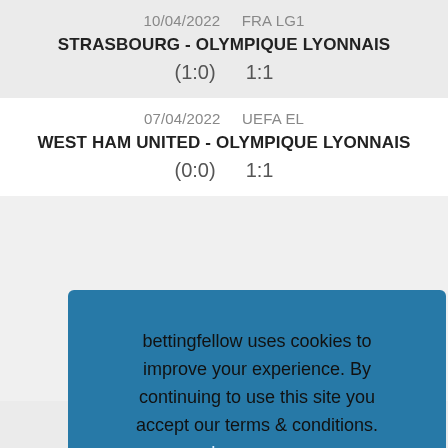10/04/2022   FRA LG1
STRASBOURG - OLYMPIQUE LYONNAIS
(1:0)   1:1
07/04/2022   UEFA EL
WEST HAM UNITED - OLYMPIQUE LYONNAIS
(0:0)   1:1
bettingfellow uses cookies to improve your experience. By continuing to use this site you accept our terms & conditions. Learn more  Got it
(0:0)   0:0